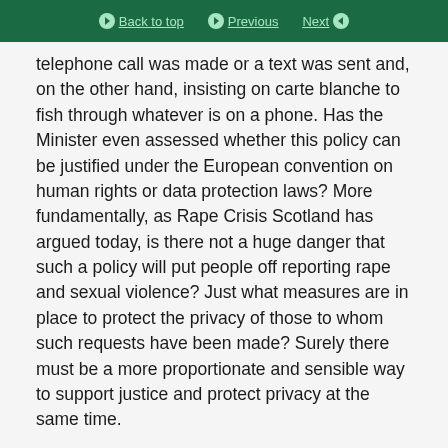Back to top | Previous | Next
telephone call was made or a text was sent and, on the other hand, insisting on carte blanche to fish through whatever is on a phone. Has the Minister even assessed whether this policy can be justified under the European convention on human rights or data protection laws? More fundamentally, as Rape Crisis Scotland has argued today, is there not a huge danger that such a policy will put people off reporting rape and sexual violence? Just what measures are in place to protect the privacy of those to whom such requests have been made? Surely there must be a more proportionate and sensible way to support justice and protect privacy at the same time.
Mr Hurd >